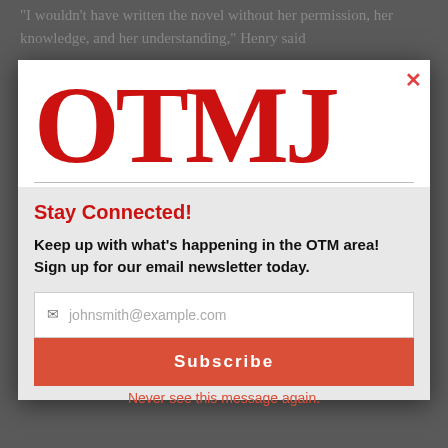"I wouldn't have written the novel without her permission, her knowledge, and her understanding," Henry said
[Figure (logo): OTMJ logo in large bold red serif letters on white background]
Stay Connected!
Keep up with what's happening in the OTM area! Sign up for our email newsletter today.
johnsmith@example.com
Subscribe
"The woman that raises you is your mom. Anybody will tell you that. The woman who raised you is your mom," Henry said
Never see this message again.